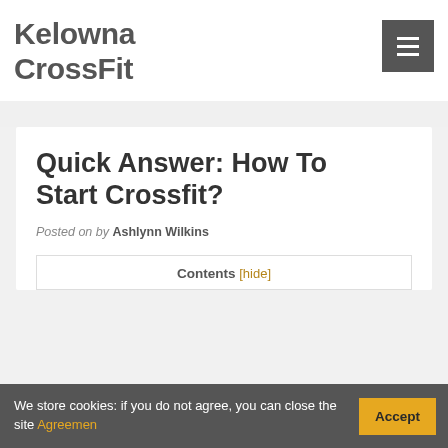Kelowna CrossFit
Quick Answer: How To Start Crossfit?
Posted on by Ashlynn Wilkins
Contents [hide]
We store cookies: if you do not agree, you can close the site Agreemen